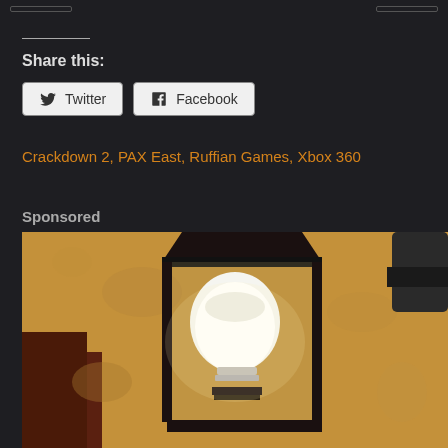Share this:
Twitter
Facebook
Crackdown 2, PAX East, Ruffian Games, Xbox 360
Sponsored
[Figure (photo): Outdoor wall-mounted lantern with a glowing white bulb, mounted on a textured stucco wall with warm sepia-toned lighting]